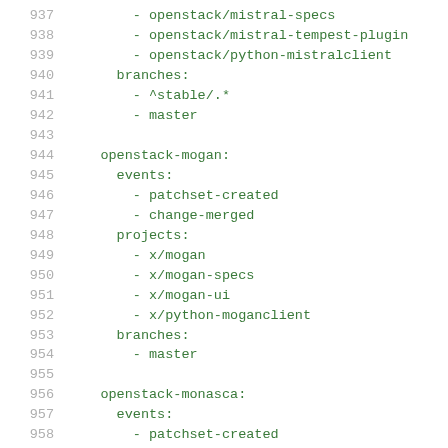Code listing lines 937-958 showing YAML configuration for openstack projects including mistral-specs, mistral-tempest-plugin, python-mistralclient, branches, openstack-mogan events/projects/branches, and openstack-monasca events